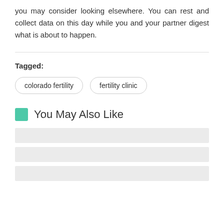you may consider looking elsewhere. You can rest and collect data on this day while you and your partner digest what is about to happen.
Tagged:
colorado fertility
fertility clinic
You May Also Like
[Figure (other): Three grey placeholder bars representing related article thumbnails or cards]
[Figure (other): Grey placeholder bar]
[Figure (other): Grey placeholder bar (partial, at bottom)]